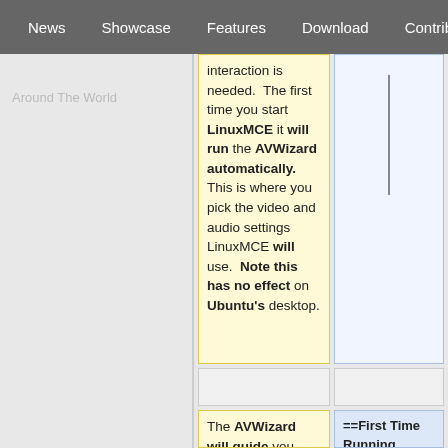News | Showcase | Features | Download | Contribute | Support
Around The World
interaction is needed.  The first time you start LinuxMCE it will run the AVWizard automatically.  This is where you pick the video and audio settings LinuxMCE will use.  Note this has no effect on Ubuntu's desktop.
The AVWizard will guide you though audio/video settings for
==First Time Running LinuxMCE==